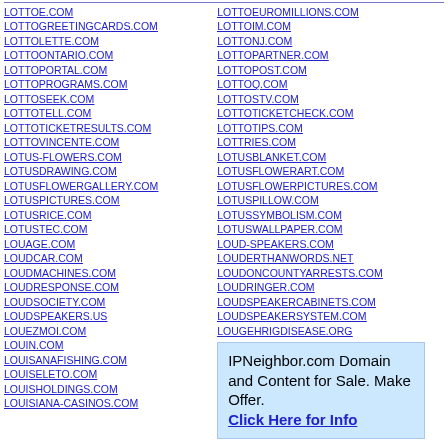LOTTOE.COM
LOTTOGREETINGCARDS.COM
LOTTOLETTE.COM
LOTTOONTARIO.COM
LOTTOPORTAL.COM
LOTTOPROGRAMS.COM
LOTTOSEEK.COM
LOTTOTELL.COM
LOTTOTICKETRESULTS.COM
LOTTOVINCENTE.COM
LOTUS-FLOWERS.COM
LOTUSDRAWING.COM
LOTUSFLOWERGALLERY.COM
LOTUSPICTURES.COM
LOTUSRICE.COM
LOTUSTEC.COM
LOUAGE.COM
LOUDCAR.COM
LOUDMACHINES.COM
LOUDRESPONSE.COM
LOUDSOCIETY.COM
LOUDSPEAKERS.US
LOUEZMOI.COM
LOUIN.COM
LOUISANAFISHING.COM
LOUISELETO.COM
LOUISHOLDINGS.COM
LOUISIANA-CASINOS.COM
LOTTOEUROMILLIONS.COM
LOTTOIM.COM
LOTTONJ.COM
LOTTOPARTNER.COM
LOTTOPOST.COM
LOTTOQ.COM
LOTTOSTV.COM
LOTTOTICKETCHECK.COM
LOTTOTIPS.COM
LOTTRIES.COM
LOTUSBLANKET.COM
LOTUSFLOWERART.COM
LOTUSFLOWERPICTURES.COM
LOTUSPILLOW.COM
LOTUSSYMBOLISM.COM
LOTUSWALLPAPER.COM
LOUD-SPEAKERS.COM
LOUDERTHANWORDS.NET
LOUDONCOUNTYARRESTS.COM
LOUDRINGER.COM
LOUDSPEAKERCABINETS.COM
LOUDSPEAKERSYSTEM.COM
LOUGEHRIGDISEASE.ORG
IPNeighbor.com Domain and Content for Sale. Make Offer. Click Here for Info